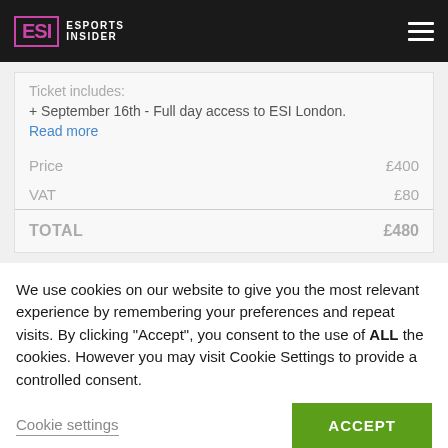ESI ESPORTS INSIDER
Ticket includes:
+ September 16th - Full day access to ESI London.
Read more
|  |  |
| --- | --- |
| Price | £400 |
| VAT | £80 |
| TOTAL | £480 |
[Figure (logo): ESI Esports Insider logo on dark background]
We use cookies on our website to give you the most relevant experience by remembering your preferences and repeat visits. By clicking "Accept", you consent to the use of ALL the cookies. However you may visit Cookie Settings to provide a controlled consent.
Cookie settings  ACCEPT